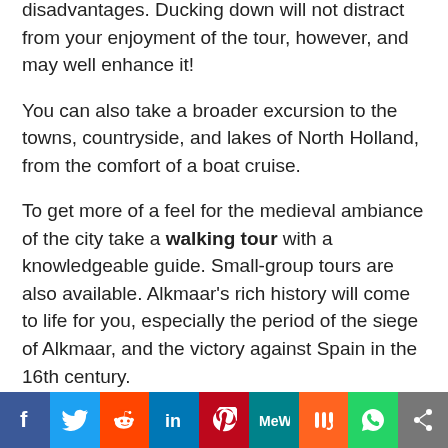disadvantages. Ducking down will not distract from your enjoyment of the tour, however, and may well enhance it! You can also take a broader excursion to the towns, countryside, and lakes of North Holland, from the comfort of a boat cruise.

To get more of a feel for the medieval ambiance of the city take a walking tour with a knowledgeable guide. Small-group tours are also available. Alkmaar's rich history will come to life for you, especially the period of the siege of Alkmaar, and the victory against Spain in the 16th century.
[Figure (infographic): Social media sharing bar with icons: Facebook, Twitter, Reddit, LinkedIn, Pinterest, MeWe, Mix, WhatsApp, Share]